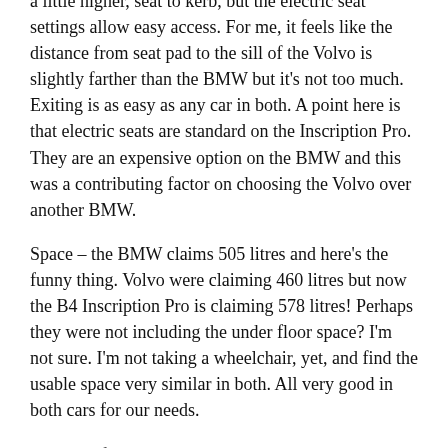a little higher, seat to kerb, but the electric seat settings allow easy access. For me, it feels like the distance from seat pad to the sill of the Volvo is slightly farther than the BMW but it's not too much. Exiting is as easy as any car in both. A point here is that electric seats are standard on the Inscription Pro. They are an expensive option on the BMW and this was a contributing factor on choosing the Volvo over another BMW.
Space – the BMW claims 505 litres and here's the funny thing. Volvo were claiming 460 litres but now the B4 Inscription Pro is claiming 578 litres! Perhaps they were not including the under floor space? I'm not sure. I'm not taking a wheelchair, yet, and find the usable space very similar in both. All very good in both cars for our needs.
Seat Comfort – Now it's here that I may not be a good candidate for the average person. The Inscription Pro has extending knee bolsters and this has a frame under the seat with a solid plate under the middle pad. I'm sitting right on this and it's uncomfortable. If you press down with a flat hand, you can clearly bottom out on the plate (no pun intended!). I'm hoping there's a problem with it and it's waiting to go back. I've likened it to sitting on a folded towel on a wooden stool. Some others